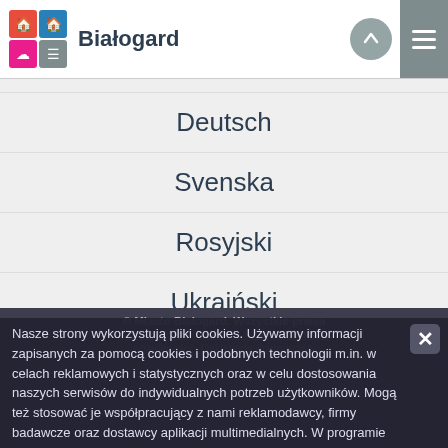Białogard
Deutsch
Svenska
Rosyjski
Ukraiński
© Miasto Białogard. Wszystkie prawa zastrzeżone   Regulamin serwisu   Polityka prywatności   Deklaracja dostępności
Nasze strony wykorzystują pliki cookies. Używamy informacji zapisanych za pomocą cookies i podobnych technologii m.in. w celach reklamowych i statystycznych oraz w celu dostosowania naszych serwisów do indywidualnych potrzeb użytkowników. Mogą też stosować je współpracujący z nami reklamodawcy, firmy badawcze oraz dostawcy aplikacji multimedialnych. W programie służącym do obsługi internetu można zmienić ustawienia dotyczące cookies. Korzystanie z naszych serwisów internetowych bez zmiany ustawień